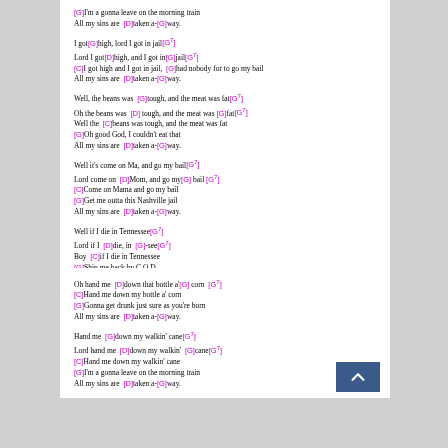Lyrics with guitar chords - All My Sins Are Taken Away (page 1 bottom and page 2 top)
[G]I'm a gonna leave on the morning train / All my sins are [D]taken a-[G]way.
I got[G]high, lord I got in jail[G7] / Lord I got[D]high, and I got in[G]jail[G7] / [C]I got high and I got in jail, [G]had nobody for to go my bail / All my sins are [D]taken a-[G]way.
Well, the beans was [G]tough, and the meat was fat[G7] / Oh the beans was [D] tough, and the meat was [G]fat[G7] / Well the [C]beans was tough, and the meat was fat / [G]Oh good God, I couldn't eat that / All my sins are [D]taken a-[G]way.
Well it's come on Ma, and go my bail[G7] / Lord come on [D]Mom, and go my[G] bail [G7] / [C]Come on Mama and go my bail / [G]Get me outta this Nashville jail / All my sins are [D]taken a-[G]way.
Well if I die in Tennessee[G7] / Lord if I [D]die, in [G]-see[G7] / Boy [C]if I die in Tennessee / [G]Ship me back by C.O.D., / All my sins are [D]taken a-[G]way.
So hand me down, my bottle a' corn[G7]
Page 1
Oh hand me [D]down that bottle a'[G] corn [G7] / [C]Hand me down my bottle a' corn / [G]Gonna get drunk just sure as you're born / All my sins are [D]taken a-[G]way.
Hand me [G]down my walkin' cane[G7] / Lord hand me [D]down my walkin' [G]cane[G7] / [C]Hand me down my walkin' cane / [G]I'm a gonna leave on the morning train / All my sins are [D]taken a-[G]way.